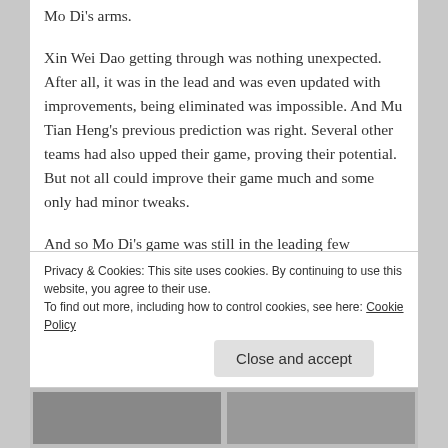Mo Di's arms.
Xin Wei Dao getting through was nothing unexpected. After all, it was in the lead and was even updated with improvements, being eliminated was impossible. And Mu Tian Heng's previous prediction was right. Several other teams had also upped their game, proving their potential. But not all could improve their game much and some only had minor tweaks.
And so Mo Di's game was still in the leading few
Privacy & Cookies: This site uses cookies. By continuing to use this website, you agree to their use.
To find out more, including how to control cookies, see here: Cookie Policy
Close and accept